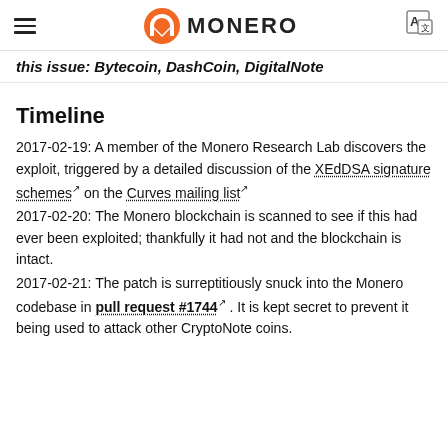MONERO
this issue: Bytecoin, DashCoin, DigitalNote
Timeline
2017-02-19: A member of the Monero Research Lab discovers the exploit, triggered by a detailed discussion of the XEdDSA signature schemes on the Curves mailing list
2017-02-20: The Monero blockchain is scanned to see if this had ever been exploited; thankfully it had not and the blockchain is intact.
2017-02-21: The patch is surreptitiously snuck into the Monero codebase in pull request #1744. It is kept secret to prevent it being used to attack other CryptoNote coins.